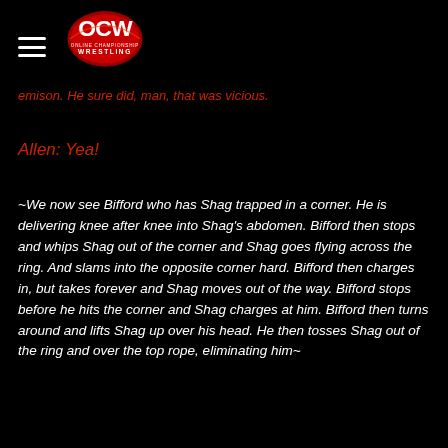OCW Online Championship Wrestling
emison. He sure did, man, that was vicious.
Allen: Yea!
~We now see Bifford who has Shag trapped in a corner. He is delivering knee after knee into Shag's abdomen. Bifford then stops and whips Shag out of the corner and Shag goes flying across the ring. And slams into the opposite corner hard. Bifford then charges in, but takes forever and Shag moves out of the way. Bifford stops before he hits the corner and Shag charges at him. Bifford then turns around and lifts Shag up over his head. He then tosses Shag out of the ring and over the top rope, eliminating him~